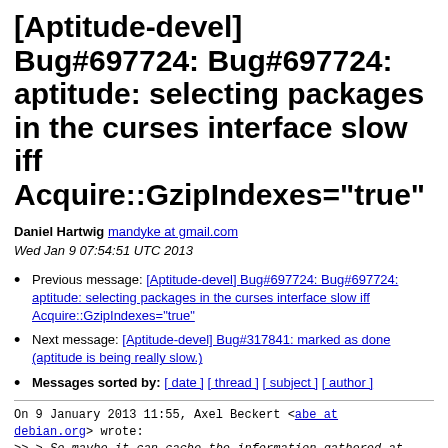[Aptitude-devel] Bug#697724: Bug#697724: aptitude: selecting packages in the curses interface slow iff Acquire::GzipIndexes="true"
Daniel Hartwig mandyke at gmail.com
Wed Jan 9 07:54:51 UTC 2013
Previous message: [Aptitude-devel] Bug#697724: Bug#697724: aptitude: selecting packages in the curses interface slow iff Acquire::GzipIndexes="true"
Next message: [Aptitude-devel] Bug#317841: marked as done (aptitude is being really slow.)
Messages sorted by: [ date ] [ thread ] [ subject ] [ author ]
On 9 January 2013 11:55, Axel Beckert <abe at debian.org> wrote:
>> > So maybe it can cache the information gathered at